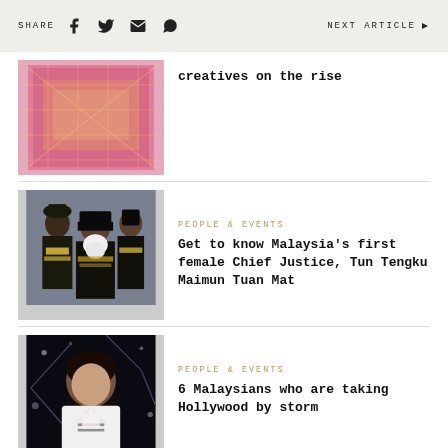SHARE  [facebook] [twitter] [email] [whatsapp]  NEXT ARTICLE ▶
[Figure (photo): Colorful illuminated installation with pink and gold lattice]
creatives on the rise
[Figure (photo): People in judicial robes and wigs, Malaysian court officials]
PEOPLE & EVENTS
Get to know Malaysia's first female Chief Justice, Tun Tengku Maimun Tuan Mat
[Figure (photo): Woman in white blazer on dark background with sparkles]
PEOPLE & EVENTS
6 Malaysians who are taking Hollywood by storm